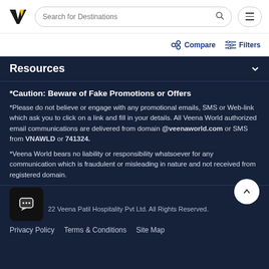Veena World — Search for Destinations
Compare   Filters
Resources
*Caution: Beware of Fake Promotions or Offers
*Please do not believe or engage with any promotional emails, SMS or Web-link which ask you to click on a link and fill in your details. All Veena World authorized email communications are delivered from domain @veenaworld.com or SMS from VNAWLD or 741324.
*Veena World bears no liability or responsibility whatsoever for any communication which is fraudulent or misleading in nature and not received from registered domain.
22 Veena Patil Hospitality Pvt Ltd. All Rights Reserved.
Privacy Policy   Terms & Conditions   Site Map